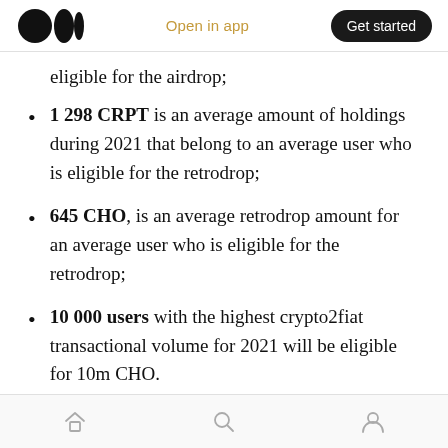Medium logo | Open in app | Get started
eligible for the airdrop;
1 298 CRPT is an average amount of holdings during 2021 that belong to an average user who is eligible for the retrodrop;
645 CHO, is an average retrodrop amount for an average user who is eligible for the retrodrop;
10 000 users with the highest crypto2fiat transactional volume for 2021 will be eligible for 10m CHO.
Home | Search | Profile navigation icons